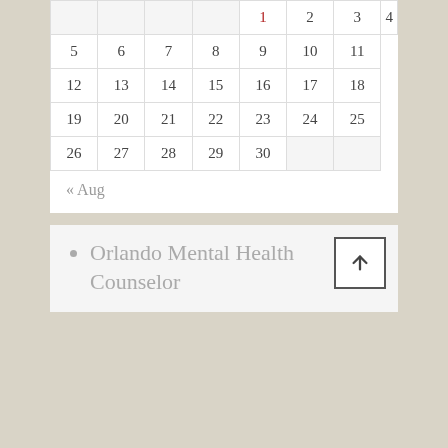|  |  |  |  | 1 | 2 | 3 | 4 |
| 5 | 6 | 7 | 8 | 9 | 10 | 11 |
| 12 | 13 | 14 | 15 | 16 | 17 | 18 |
| 19 | 20 | 21 | 22 | 23 | 24 | 25 |
| 26 | 27 | 28 | 29 | 30 |  |  |
« Aug
Orlando Mental Health Counselor